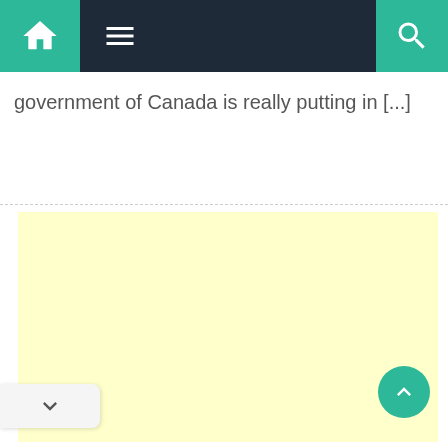Navigation bar with home, menu, and search icons
government of Canada is really putting in [...]
[Figure (other): Light yellow advertisement block placeholder]